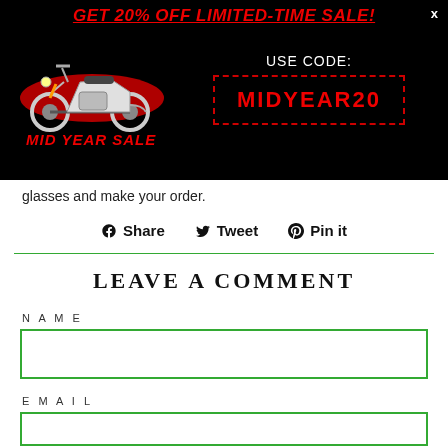[Figure (infographic): Black banner popup for Mid Year Sale motorcycle gear with red italic bold underlined heading 'GET 20% OFF LIMITED-TIME SALE!', a motorcycle illustration with 'MID YEAR SALE' text, 'USE CODE:' label, and a dashed red box containing 'MIDYEAR20' code. An X close button is in the top right.]
glasses and make your order.
Share  Tweet  Pin it
LEAVE A COMMENT
NAME
EMAIL